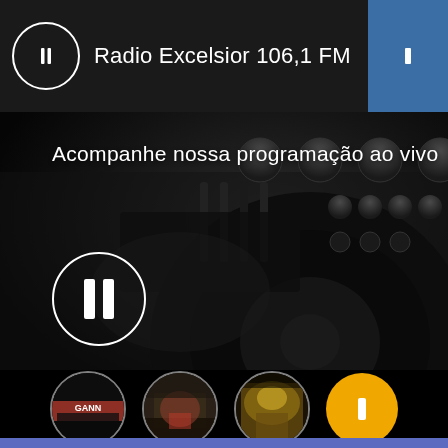Radio Excelsior 106,1 FM
Acompanhe nossa programação ao vivo
[Figure (screenshot): Mobile app screenshot showing Radio Excelsior 106,1 FM app with DJ mixer background image, pause button, circular photo thumbnails at bottom, and a yellow FAB button]